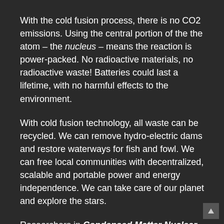With the cold fusion process, there is no CO2 emissions. Using the central portion of the the atom – the nucleus – means the reaction is power-packed. No radioactive materials, no radioactive waste! Batteries could last a lifetime, with no harmful effects to the environment.
With cold fusion technology, all waste can be recycled. We can remove hydro-electric dams and restore waterways for fish and fowl. We can free local communities with decentralized, scalable and portable power and energy independence. We can take care of our planet and explore the stars.
Researchers in Condensed Matter Nuclear Science are still determining the science of the reaction, even as a technology is developing.